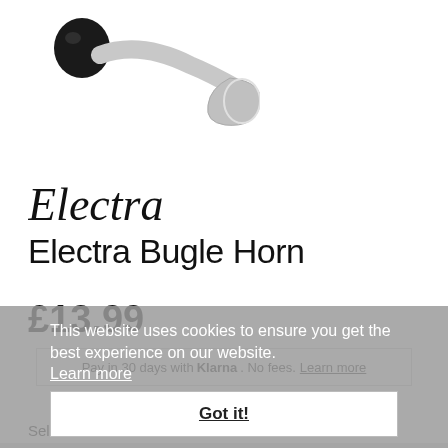[Figure (photo): Product photo of Electra Bugle Horn bicycle horn with black rubber bulb and silver metal bell/bugle, on white background]
[Figure (logo): Electra brand logo in italic script font]
Electra Bugle Horn
£13.99
Pay in 30 days with Klarna. No fees. Learn more
This item is available and will be dispatched within 7-10 days
This website uses cookies to ensure you get the best experience on our website.
Learn more
Got it!
Select a Colour: